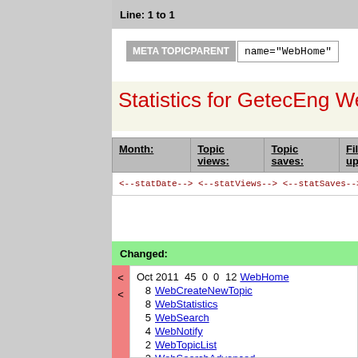Line: 1 to 1
META TOPICPARENT   name="WebHome"
Statistics for GetecEng Web
| Month: | Topic views: | Topic saves: | File uploads: |
| --- | --- | --- | --- |
| <--statDate--> | <--statViews--> | <--statSaves--> | <--statU... |
Changed:
Oct 2011 45 0 0  12 WebHome
 8 WebCreateNewTopic
 8 WebStatistics
 5 WebSearch
 4 WebNotify
 2 WebTopicList
 2 WebSearchAdvanced
 2 WebLeftBar
 1 WebPreferences
 1 WebChanges